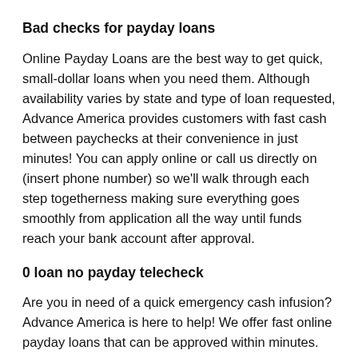Bad checks for payday loans
Online Payday Loans are the best way to get quick, small-dollar loans when you need them. Although availability varies by state and type of loan requested, Advance America provides customers with fast cash between paychecks at their convenience in just minutes! You can apply online or call us directly on (insert phone number) so we'll walk through each step togetherness making sure everything goes smoothly from application all the way until funds reach your bank account after approval.
0 loan no payday telecheck
Are you in need of a quick emergency cash infusion? Advance America is here to help! We offer fast online payday loans that can be approved within minutes. The best part about these low-interest rate products: they come with friendly terms and conditions just like our retail locations across the country do, so there will never be any issues getting your funds deposited into an account as early as same day.